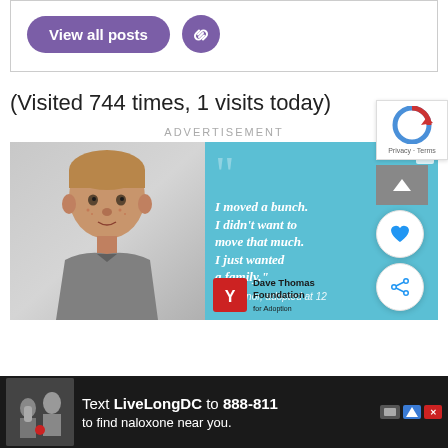[Figure (screenshot): Top card area with 'View all posts' purple pill button and a purple circular link icon button]
(Visited 744 times, 1 visits today)
ADVERTISEMENT
[Figure (photo): Advertisement image: left half shows a young boy with freckles in a gray shirt against a light grey background; right half has a teal/light blue background with large white quotation mark and italic white text reading 'I moved a bunch. I didn't want to move that much. I just wanted a family.' with attribution '— Connor, adopted at 12' and Dave Thomas Foundation logo at bottom]
[Figure (screenshot): reCAPTCHA widget partially visible on right side with Privacy - Terms text]
[Figure (screenshot): Bottom dark banner advertisement: 'Text LiveLongDC to 888-811 to find naloxone near you.' with icons on the right side and a photo of people on the left]
[Figure (screenshot): Right sidebar floating UI buttons: scroll-up gray button, heart/like button (blue), share button (blue)]